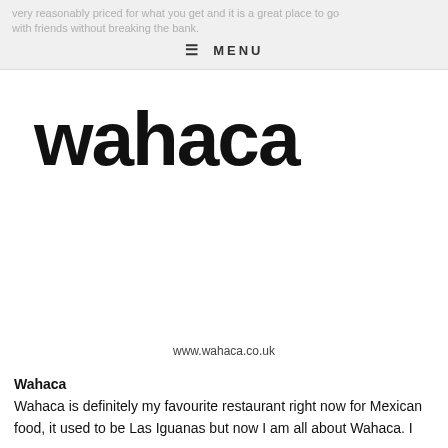very reasonably priced for what you get and it is a great place to go with friends without breaking the bank.
≡ MENU
[Figure (logo): Wahaca restaurant logo in large bold black custom typeface on white background]
www.wahaca.co.uk
Wahaca
Wahaca is definitely my favourite restaurant right now for Mexican food, it used to be Las Iguanas but now I am all about Wahaca. I